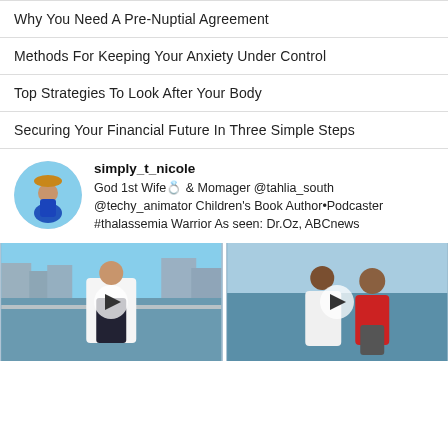Why You Need A Pre-Nuptial Agreement
Methods For Keeping Your Anxiety Under Control
Top Strategies To Look After Your Body
Securing Your Financial Future In Three Simple Steps
simply_t_nicole
God 1st Wife💍 & Momager @tahlia_south @techy_animator Children's Book Author•Podcaster #thalassemia Warrior As seen: Dr.Oz, ABCnews
[Figure (photo): Woman in white jacket and black shorts standing by a waterfront railing with marina in background, with play button overlay]
[Figure (photo): Couple embracing outdoors near water, woman in white shirt and man in red shirt, with play button overlay]